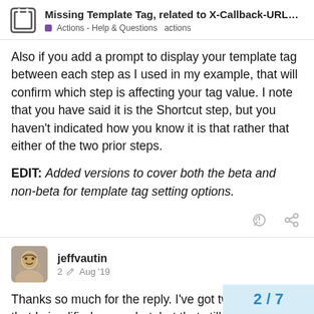Missing Template Tag, related to X-Callback-URL… | Actions - Help & Questions | actions
Also if you add a prompt to display your template tag between each step as I used in my example, that will confirm which step is affecting your tag value. I note that you have said it is the Shortcut step, but you haven't indicated how you know it is that rather that either of the two prior steps.
EDIT: Added versions to cover both the beta and non-beta for template tag setting options.
jeffvautin  2  Aug '19
Thanks so much for the reply. I've got two actions that I simplified somewhat, but that still illustrate the behavior:
2 / 7